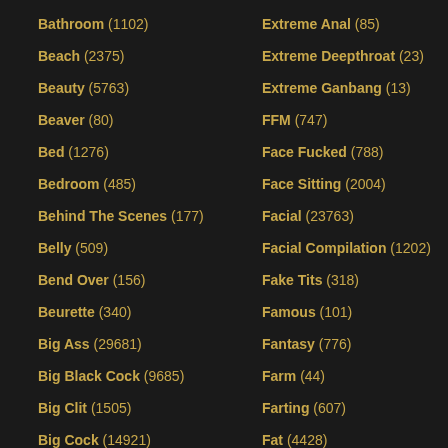Bathroom (1102)
Beach (2375)
Beauty (5763)
Beaver (80)
Bed (1276)
Bedroom (485)
Behind The Scenes (177)
Belly (509)
Bend Over (156)
Beurette (340)
Big Ass (29681)
Big Black Cock (9685)
Big Clit (1505)
Big Cock (14921)
Big Natural Tits (5614)
Big Nipples (1104)
Extreme Anal (85)
Extreme Deepthroat (23)
Extreme Ganbang (13)
FFM (747)
Face Fucked (788)
Face Sitting (2004)
Facial (23763)
Facial Compilation (1202)
Fake Tits (318)
Famous (101)
Fantasy (776)
Farm (44)
Farting (607)
Fat (4428)
Fat Guy (502)
Fat Mature (140)